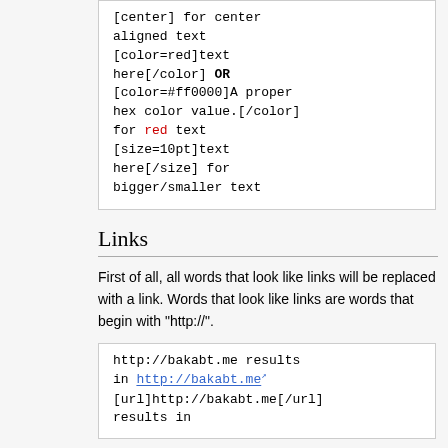[center] for center aligned text
[color=red]text here[/color] OR [color=#ff0000]A proper hex color value.[/color] for red text
[size=10pt]text here[/size] for bigger/smaller text
Links
First of all, all words that look like links will be replaced with a link. Words that look like links are words that begin with "http://".
http://bakabt.me results in http://bakabt.me [url]http://bakabt.me[/url] results in